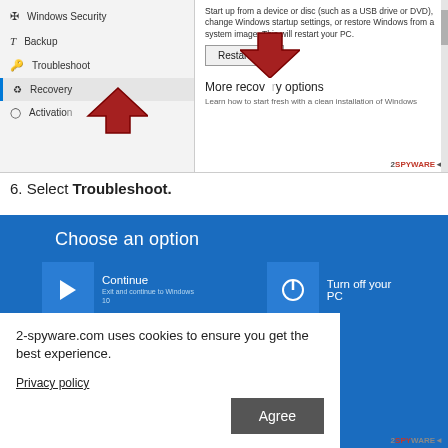[Figure (screenshot): Windows Settings Recovery panel showing left menu with Windows Security, Backup, Troubleshoot, Recovery (highlighted with red arrow), Activation items, and right panel showing text about starting from a device or disc, a Restart now button (with red arrow pointing to it), More recovery options heading, and 2SPYWARE branding.]
6. Select Troubleshoot.
[Figure (screenshot): Windows 10 recovery blue screen showing 'Choose an option' with tiles: Continue (Exit and continue to Windows 10), Turn off your PC (power icon), Use a device (Use a USB drive, network connection, or Windows recovery DVD), and Troubleshoot (partially visible at bottom).]
2-spyware.com uses cookies to ensure you get the best experience.
Privacy policy
Agree